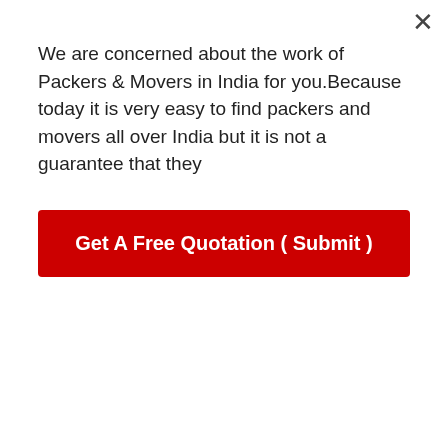We are concerned about the work of Packers & Movers in India for you.Because today it is very easy to find packers and movers all over India but it is not a guarantee that they
[Figure (other): Red CTA button: Get A Free Quotation ( Submit )]
do this service for you.
For the past many years, Our packers and movers have provided these services to our customers. Thousands of customers' wishes have been successfully fulfilled as a result of our efforts. Our Movers and packers in Surat undertake a pre-move analysis to understand your requirements before we do anything related to your shifting or movement.
We will examine items that needed to be moved or relocated during this shifting. After that, it will be much easier for us to specify the list of requirements required to complete your
[Figure (other): Orange circle phone/call icon]
[Figure (other): Green WhatsApp icon circle]